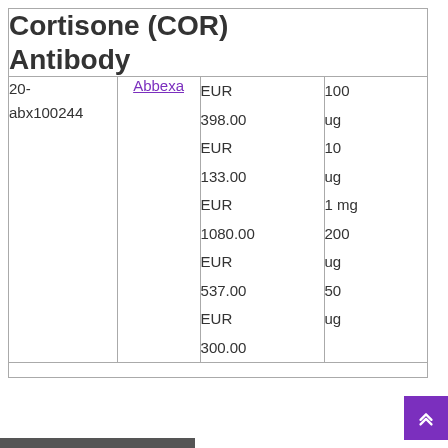Cortisone (COR) Antibody
| ID | Supplier | Price | Size |
| --- | --- | --- | --- |
| 20-abx100244 | Abbexa | EUR 398.00
EUR 133.00
EUR 1080.00
EUR 537.00
EUR 300.00 | 100 ug
10 ug
1 mg
200 ug
50 ug |